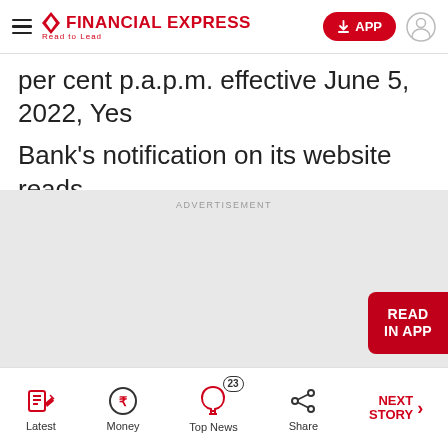FINANCIAL EXPRESS — Read to Lead
per cent p.a.p.m. effective June 5, 2022, Yes Bank's notification on its website reads.
[Figure (other): Advertisement placeholder area with ADVERTISEMENT label]
Latest | Money | Top News (23) | Share | NEXT STORY →